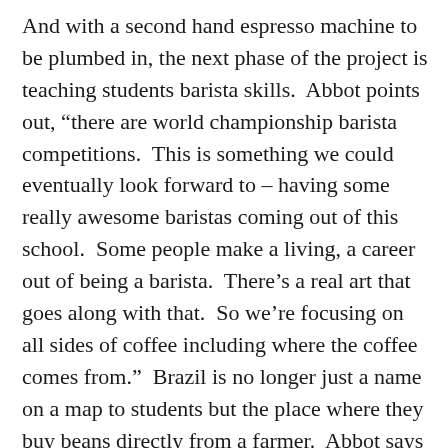And with a second hand espresso machine to be plumbed in, the next phase of the project is teaching students barista skills.  Abbot points out, “there are world championship barista competitions.  This is something we could eventually look forward to – having some really awesome baristas coming out of this school.  Some people make a living, a career out of being a barista.  There’s a real art that goes along with that.  So we’re focusing on all sides of coffee including where the coffee comes from.”  Brazil is no longer just a name on a map to students but the place where they buy beans directly from a farmer.  Abbot says the students “are learning a lot about social issues and what we can do in Canada to help.  We believe the farmers deserve to make enough to survive so we’re learning how through business we can not only make a difference in our